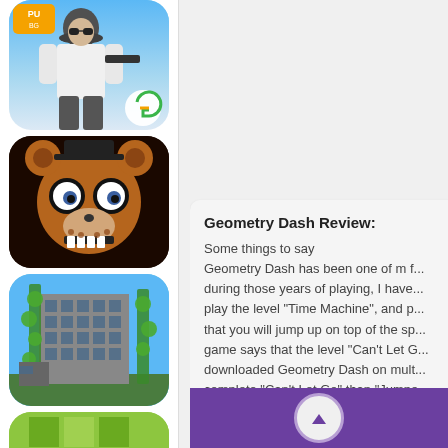[Figure (screenshot): PUBG Mobile app icon with soldier character, sky background, orange logo badge in corner, and GameLoop logo]
[Figure (screenshot): Five Nights at Freddy's app icon showing Freddy Fazbear animatronic bear face on dark background]
[Figure (screenshot): Minecraft-style app icon showing blocky building structure with green vines on blue sky background]
[Figure (screenshot): Partially visible green game icon at bottom of left panel]
Geometry Dash Review:
Some things to say
Geometry Dash has been one of m f...
during those years of playing, I have...
play the level "Time Machine", and p...
that you will jump up on top of the sp...
game says that the level "Can't Let G...
downloaded Geometry Dash on mult...
complete "Can't Let Go" than "Jumpe...
"Jumper" in only 3 attemp... d "Ca...